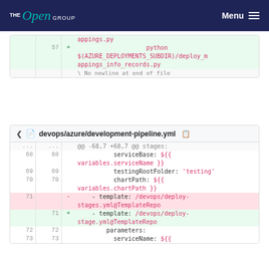THE Open GROUP   Menu
[Figure (screenshot): Git diff snippet showing line 57 added: python $(AZURE_DEPLOYMENTS_SUBDIR)/deploy_mappings_info_records.py with No newline at end of file]
devops/azure/development-pipeline.yml
[Figure (screenshot): Git diff of devops/azure/development-pipeline.yml showing lines 68-73: serviceBase ${{variables.serviceName}}, testingRootFolder 'testing', chartPath ${{variables.chartPath}}, removed template /devops/deploy-stages.yml@TemplateRepo, added template /devops/deploy-stage.yml@TemplateRepo, parameters:, serviceName ${{]